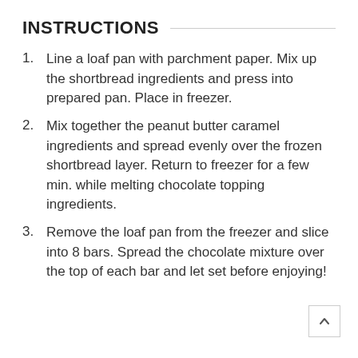INSTRUCTIONS
Line a loaf pan with parchment paper. Mix up the shortbread ingredients and press into prepared pan. Place in freezer.
Mix together the peanut butter caramel ingredients and spread evenly over the frozen shortbread layer. Return to freezer for a few min. while melting chocolate topping ingredients.
Remove the loaf pan from the freezer and slice into 8 bars. Spread the chocolate mixture over the top of each bar and let set before enjoying!